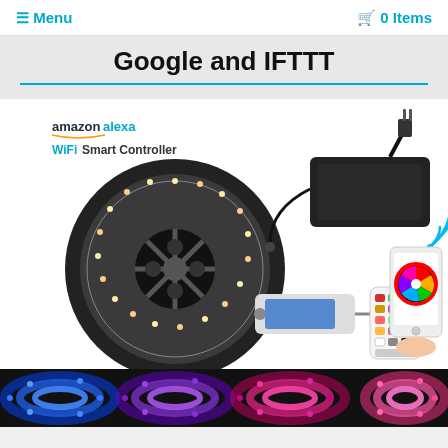≡ Menu   🛒 0 Items
Google and IFTTT
[Figure (photo): Product photo of a WiFi Smart Controller LED strip kit with amazon alexa branding, showing a reel of LED strip lights, a power adapter with cable, a small WiFi controller box, a 24-button IR remote control, and a smartphone displaying a color wheel app.]
[Figure (photo): Close-up photo of LED light strips glowing in blue, purple, and pink colors, shown as coiled reels.]